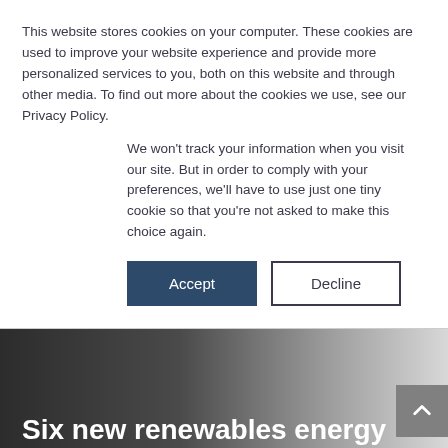This website stores cookies on your computer. These cookies are used to improve your website experience and provide more personalized services to you, both on this website and through other media. To find out more about the cookies we use, see our Privacy Policy.
We won't track your information when you visit our site. But in order to comply with your preferences, we'll have to use just one tiny cookie so that you're not asked to make this choice again.
Accept | Decline
[Figure (screenshot): Hero image with dark-to-light gradient background (dark grey on left fading to light grey on right), containing article headline and byline]
Six new renewables energy zones to be built across Victoria
by admin | Nov 20, 2022